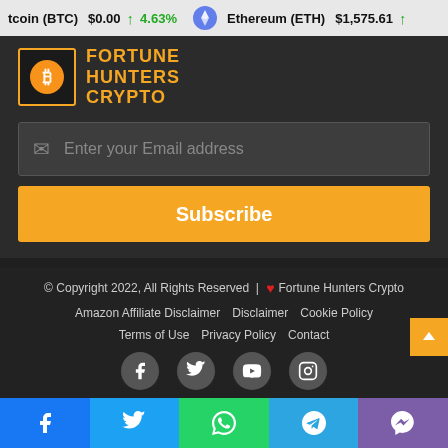Bitcoin (BTC) $0.00 ↑ 4.63% Ethereum (ETH) $1,575.61 ↑
[Figure (logo): Fortune Hunters Crypto logo with Bitcoin symbol and yellow text]
Enter your Email address
Subscribe
© Copyright 2022, All Rights Reserved | ❤ Fortune Hunters Crypto
Amazon Affiliate Disclaimer   Disclaimer   Cookie Policy
Terms of Use   Privacy Policy   Contact
[Figure (other): Social media icons: Facebook, Twitter, YouTube, Instagram]
[Figure (other): Bottom share bar with Facebook, Twitter, WhatsApp, Telegram, Viber icons]